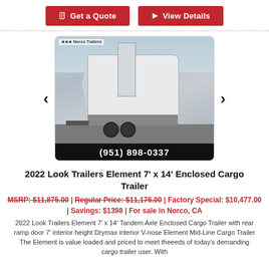[Figure (other): Two red buttons: 'Get a Quote' and 'View Details']
[Figure (photo): Photo of a 2022 Look Trailers Element 7x14 white enclosed cargo trailer in a parking lot, with phone number (951) 898-0337 overlaid at the bottom]
2022 Look Trailers Element 7' x 14' Enclosed Cargo Trailer
MSRP: $11,875.00 | Regular Price: $11,176.00 | Factory Special: $10,477.00 | Savings: $1398 | For sale in Norco, CA
2022 Look Trailers Element 7' x 14' Tandem Axle Enclosed Cargo Trailer with rear ramp door 7' interior height Drymax interior V-nose Element Mid-Line Cargo Trailer The Element is value loaded and priced to meet theeeds of today's demanding cargo trailer user. With